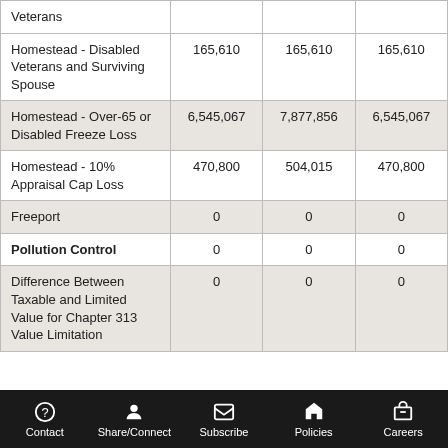|  |  |  |  |
| --- | --- | --- | --- |
| Veterans |  |  |  |
| Homestead - Disabled Veterans and Surviving Spouse | 165,610 | 165,610 | 165,610 |
| Homestead - Over-65 or Disabled Freeze Loss | 6,545,067 | 7,877,856 | 6,545,067 |
| Homestead - 10% Appraisal Cap Loss | 470,800 | 504,015 | 470,800 |
| Freeport | 0 | 0 | 0 |
| Pollution Control | 0 | 0 | 0 |
| Difference Between Taxable and Limited Value for Chapter 313 Value Limitation | 0 | 0 | 0 |
Contact | Share/Connect | Subscribe | Policies | Careers